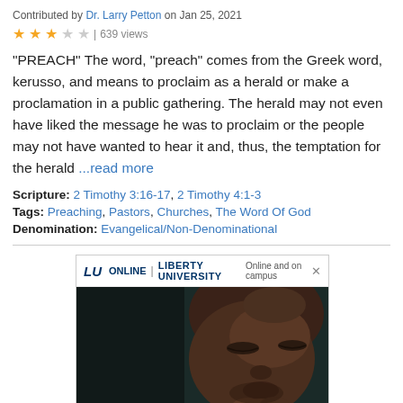Contributed by Dr. Larry Petton on Jan 25, 2021
★★★☆☆ | 639 views
“PREACH” The word, “preach” comes from the Greek word, kerusso, and means to proclaim as a herald or make a proclamation in a public gathering. The herald may not even have liked the message he was to proclaim or the people may not have wanted to hear it and, thus, the temptation for the herald ...read more
Scripture: 2 Timothy 3:16-17, 2 Timothy 4:1-3
Tags: Preaching, Pastors, Churches, The Word Of God
Denomination: Evangelical/Non-Denominational
[Figure (photo): Advertisement for Liberty University Online showing a man with closed eyes in a prayer pose with hands clasped, dark dramatic background. Ad header shows LU ONLINE | LIBERTY UNIVERSITY with tagline 'Online and on campus'.]